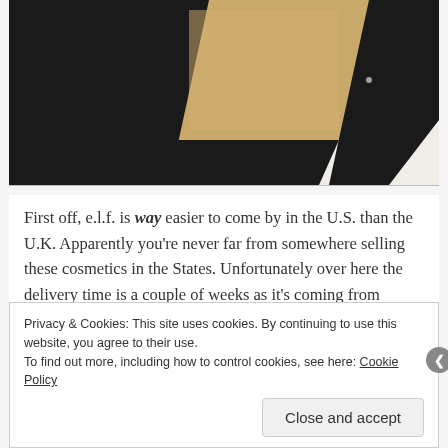[Figure (photo): Close-up photo of a black compact cosmetic case with tan/beige interior, viewed from above against a white background.]
First off, e.l.f. is way easier to come by in the U.S. than the U.K. Apparently you're never far from somewhere selling these cosmetics in the States. Unfortunately over here the delivery time is a couple of weeks as it's coming from overseas. Although still priced pretty well with only a £2.95 delivery charge.
Privacy & Cookies: This site uses cookies. By continuing to use this website, you agree to their use.
To find out more, including how to control cookies, see here: Cookie Policy
Close and accept